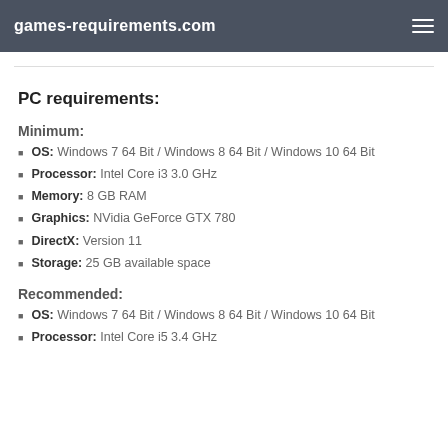games-requirements.com
PC requirements:
Minimum:
OS: Windows 7 64 Bit / Windows 8 64 Bit / Windows 10 64 Bit
Processor: Intel Core i3 3.0 GHz
Memory: 8 GB RAM
Graphics: NVidia GeForce GTX 780
DirectX: Version 11
Storage: 25 GB available space
Recommended:
OS: Windows 7 64 Bit / Windows 8 64 Bit / Windows 10 64 Bit
Processor: Intel Core i5 3.4 GHz